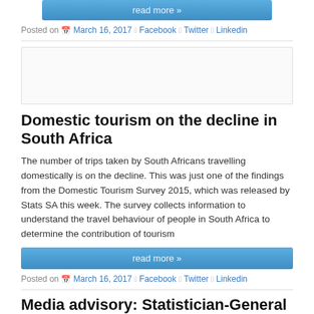read more »
Posted on  March 16, 2017  Facebook  Twitter  Linkedin
[Figure (other): Advertisement box, blank gray bordered rectangle]
Domestic tourism on the decline in South Africa
The number of trips taken by South Africans travelling domestically is on the decline. This was just one of the findings from the Domestic Tourism Survey 2015, which was released by Stats SA this week. The survey collects information to understand the travel behaviour of people in South Africa to determine the contribution of tourism
read more »
Posted on  March 16, 2017  Facebook  Twitter  Linkedin
Media advisory: Statistician-General to release Domestic